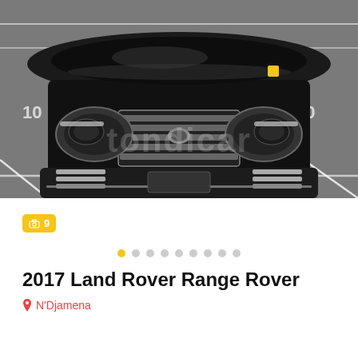[Figure (photo): Front view of a black 2017 Land Rover Range Rover SUV parked in a parking lot, taken from straight ahead. The vehicle features chrome grille slats, round headlights, and chrome fog light trim. A watermark logo is visible across the image.]
9
• • • • • • • • •
2017 Land Rover Range Rover
N'Djamena